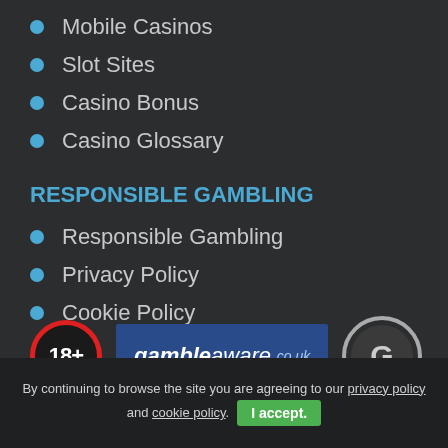Mobile Casinos
Slot Sites
Casino Bonus
Casino Glossary
RESPONSIBLE GAMBLING
Responsible Gambling
Privacy Policy
Cookie Policy
[Figure (logo): 18+ badge, GambleAware logo, GamCare logo]
By continuing to browse the site you are agreeing to our privacy policy and cookie policy. I accept.